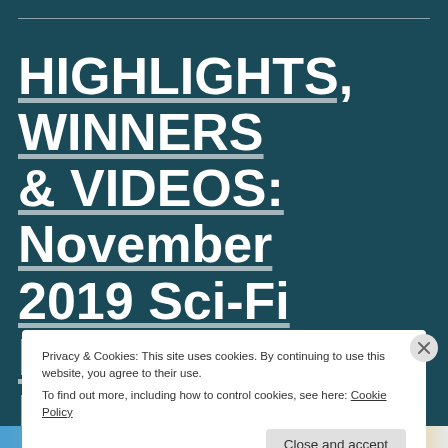HIGHLIGHTS, WINNERS & VIDEOS: November 2019 Sci-Fi FEEDBACK Film Festival
Privacy & Cookies: This site uses cookies. By continuing to use this website, you agree to their use. To find out more, including how to control cookies, see here: Cookie Policy
Close and accept